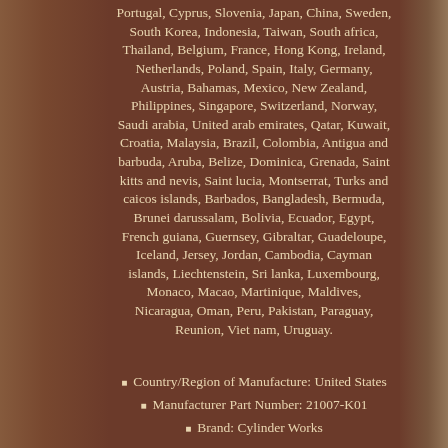Portugal, Cyprus, Slovenia, Japan, China, Sweden, South Korea, Indonesia, Taiwan, South africa, Thailand, Belgium, France, Hong Kong, Ireland, Netherlands, Poland, Spain, Italy, Germany, Austria, Bahamas, Mexico, New Zealand, Philippines, Singapore, Switzerland, Norway, Saudi arabia, United arab emirates, Qatar, Kuwait, Croatia, Malaysia, Brazil, Colombia, Antigua and barbuda, Aruba, Belize, Dominica, Grenada, Saint kitts and nevis, Saint lucia, Montserrat, Turks and caicos islands, Barbados, Bangladesh, Bermuda, Brunei darussalam, Bolivia, Ecuador, Egypt, French guiana, Guernsey, Gibraltar, Guadeloupe, Iceland, Jersey, Jordan, Cambodia, Cayman islands, Liechtenstein, Sri lanka, Luxembourg, Monaco, Macao, Martinique, Maldives, Nicaragua, Oman, Peru, Pakistan, Paraguay, Reunion, Viet nam, Uruguay.
Country/Region of Manufacture: United States
Manufacturer Part Number: 21007-K01
Brand: Cylinder Works